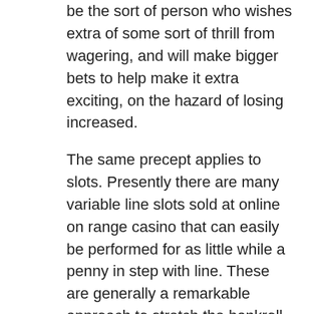be the sort of person who wishes extra of some sort of thrill from wagering, and will make bigger bets to help make it extra exciting, on the hazard of losing increased.
The same precept applies to slots. Presently there are many variable line slots sold at online on range casino that can easily be performed for as little while a penny in step with line. These are generally a remarkable approach to stretch the bankroll to the restriction, however you will need to accept that your own capacity wins usually are lots smaller seeing that a result. However, you will progbably manage to spend a great deal additional time with a particularly small traditional bank roll.